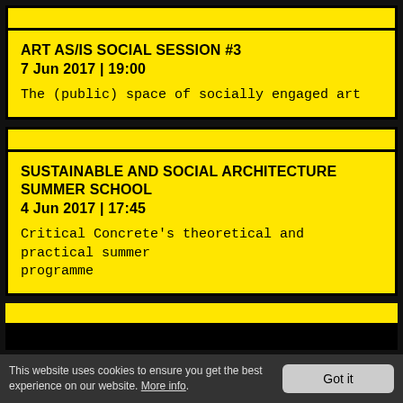ART AS/IS SOCIAL SESSION #3
7 Jun 2017 | 19:00
The (public) space of socially engaged art
SUSTAINABLE AND SOCIAL ARCHITECTURE SUMMER SCHOOL
4 Jun 2017 | 17:45
Critical Concrete's theoretical and practical summer programme
This website uses cookies to ensure you get the best experience on our website. More info. Got it